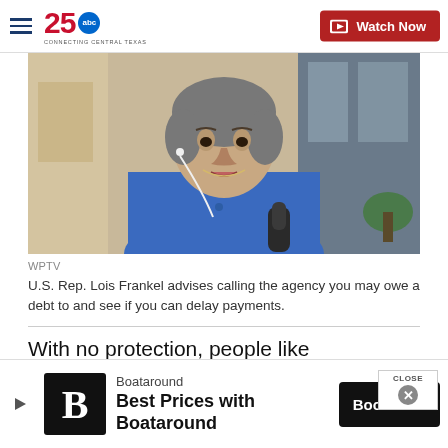25 abc Connecting Central Texas | Watch Now
[Figure (photo): Older woman in blue shirt being interviewed outdoors, wearing earbuds, with a microphone visible]
WPTV
U.S. Rep. Lois Frankel advises calling the agency you may owe a debt to and see if you can delay payments.
With no protection, people like Hemsley are now subject to losing the $1,400 as soon as it hits their
Boataround
Best Prices with Boataround
Book Now